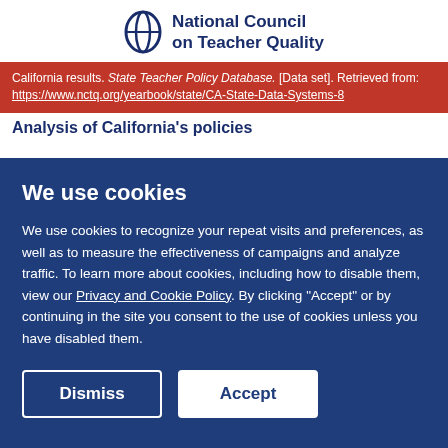National Council on Teacher Quality
California results. State Teacher Policy Database. [Data set]. Retrieved from: https://www.nctq.org/yearbook/state/CA-State-Data-Systems-8
Analysis of California's policies
We use cookies
We use cookies to recognize your repeat visits and preferences, as well as to measure the effectiveness of campaigns and analyze traffic. To learn more about cookies, including how to disable them, view our Privacy and Cookie Policy. By clicking "Accept" or by continuing in the site you consent to the use of cookies unless you have disabled them.
Dismiss | Accept